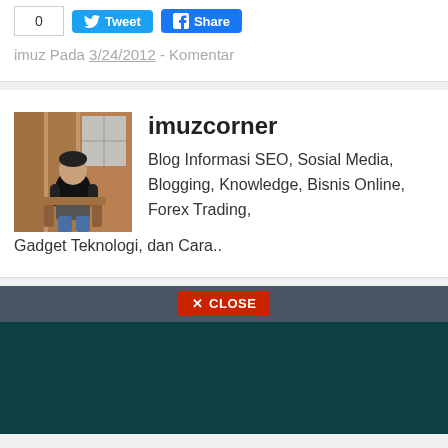[Figure (screenshot): Social sharing buttons: a share count box showing '0', a blue Twitter Tweet button, and a blue Facebook Share button]
imuz Pada 3/24/2012  -  Komentar
[Figure (photo): Author photo: a man sitting in a wooden chair in what appears to be a wooden building]
imuzcorner
Blog Informasi SEO, Sosial Media, Blogging, Knowledge, Bisnis Online, Forex Trading, Gadget Teknologi, dan Cara..
CLOSE